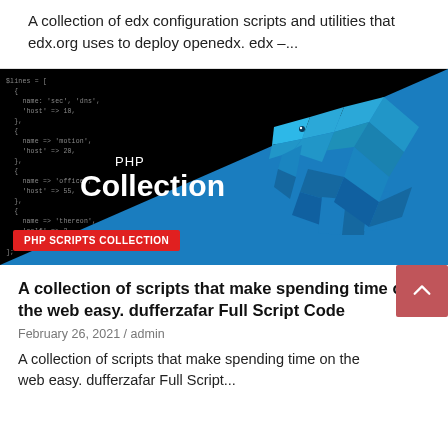A collection of edx configuration scripts and utilities that edx.org uses to deploy openedx. edx –...
[Figure (screenshot): Screenshot of PHP Collection webpage thumbnail showing a dark background with PHP code on the left and a blue low-poly elephant on the right. Text overlay reads 'PHP' and 'Collection' in white. A red badge at the bottom left reads 'PHP SCRIPTS COLLECTION'.]
A collection of scripts that make spending time on the web easy. dufferzafar Full Script Code
February 26, 2021 / admin
A collection of scripts that make spending time on the web easy. dufferzafar Full Script Code...